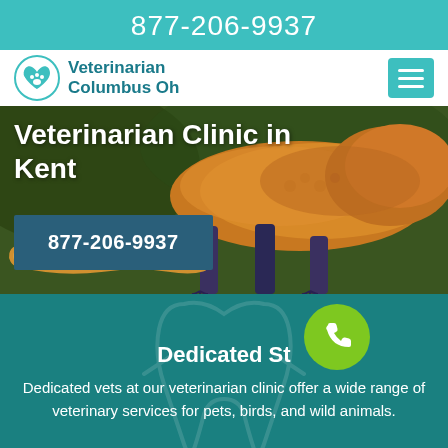877-206-9937
Veterinarian Columbus Oh
[Figure (logo): Veterinarian Columbus Oh logo with paw/heart/stethoscope icon]
Veterinarian Clinic in Kent
877-206-9937
[Figure (photo): Close-up photo of a lizard/chameleon on a surface, green and orange coloring]
Dedicated St
[Figure (other): Green circle with white phone/call icon (floating action button)]
Dedicated vets at our veterinarian clinic offer a wide range of veterinary services for pets, birds, and wild animals.